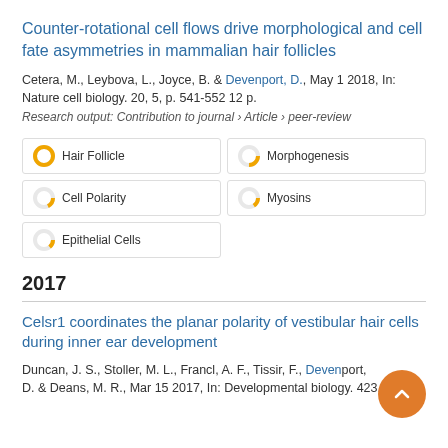Counter-rotational cell flows drive morphological and cell fate asymmetries in mammalian hair follicles
Cetera, M., Leybova, L., Joyce, B. & Devenport, D., May 1 2018, In: Nature cell biology. 20, 5, p. 541-552 12 p.
Research output: Contribution to journal › Article › peer-review
Hair Follicle
Morphogenesis
Cell Polarity
Myosins
Epithelial Cells
2017
Celsr1 coordinates the planar polarity of vestibular hair cells during inner ear development
Duncan, J. S., Stoller, M. L., Francl, A. F., Tissir, F., Devenport, D. & Deans, M. R., Mar 15 2017, In: Developmental biology. 423,